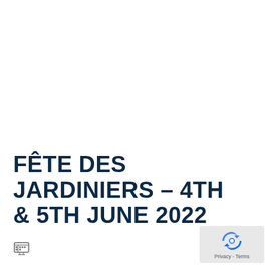FÊTE DES JARDINIERS – 4TH & 5TH JUNE 2022
[Figure (logo): Map/location pin icon (small grey symbol)]
[Figure (logo): reCAPTCHA badge with Privacy - Terms text]